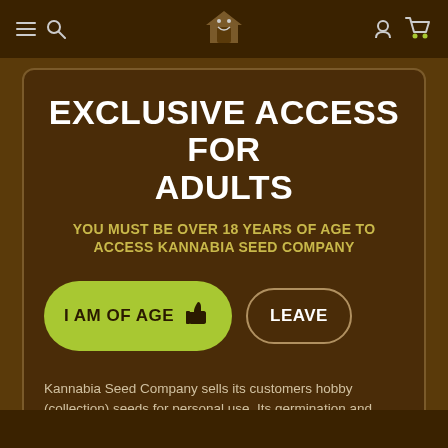Navigation bar with menu, search, home, account and cart icons
EXCLUSIVE ACCESS FOR ADULTS
YOU MUST BE OVER 18 YEARS OF AGE TO ACCESS KANNABIA SEED COMPANY
I AM OF AGE  [thumbs up icon]
LEAVE
Kannabia Seed Company sells its customers hobby (collection) seeds for personal use. Its germination and cultivation is prohibited. The buyer undertakes to consult the legislation in force in his country of residence to avoid incurring in the performance of an illegal activity.